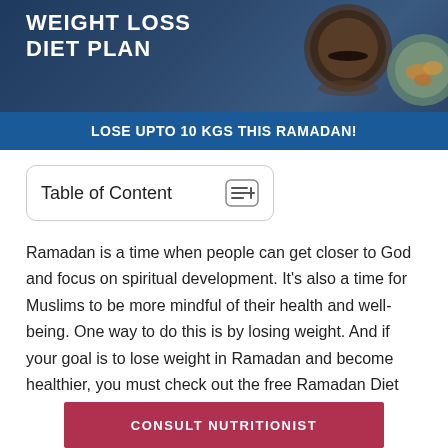[Figure (illustration): Banner image with dark blue background showing tea cup and food items, with 'WEIGHT LOSS DIET PLAN' text and a blue bar reading 'LOSE UPTO 10 KGS THIS RAMADAN!']
Table of Content
Ramadan is a time when people can get closer to God and focus on spiritual development. It's also a time for Muslims to be more mindful of their health and well-being. One way to do this is by losing weight. And if your goal is to lose weight in Ramadan and become healthier, you must check out the free Ramadan Diet
CONSULT NUTRITIONIST